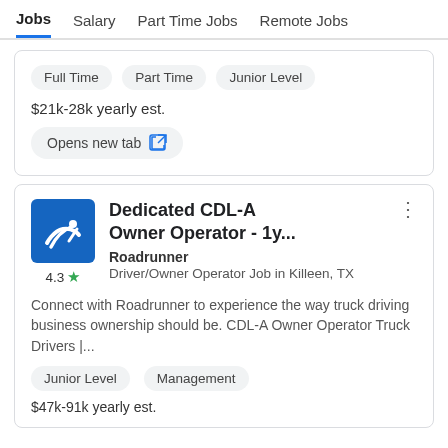Jobs  Salary  Part Time Jobs  Remote Jobs
Full Time  Part Time  Junior Level
$21k-28k yearly est.
Opens new tab
Dedicated CDL-A Owner Operator - 1y...
Roadrunner
Driver/Owner Operator Job in Killeen, TX
Connect with Roadrunner to experience the way truck driving business ownership should be. CDL-A Owner Operator Truck Drivers |...
Junior Level  Management
$47k-91k yearly est.